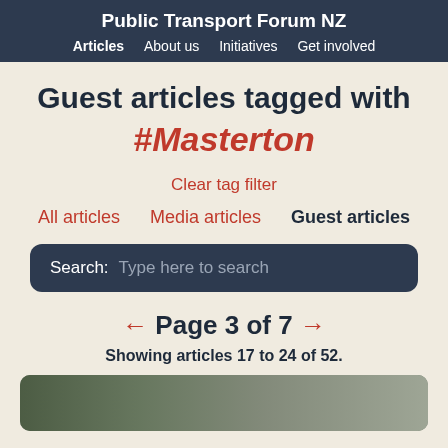Public Transport Forum NZ | Articles  About us  Initiatives  Get involved
Guest articles tagged with #Masterton
Clear tag filter
All articles  Media articles  Guest articles
Search: Type here to search
← Page 3 of 7 →
Showing articles 17 to 24 of 52.
[Figure (photo): Street scene with vehicles and trees, partially visible at bottom of page]